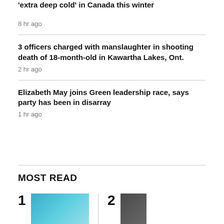'extra deep cold' in Canada this winter
8 hr ago
3 officers charged with manslaughter in shooting death of 18-month-old in Kawartha Lakes, Ont.
2 hr ago
Elizabeth May joins Green leadership race, says party has been in disarray
1 hr ago
MOST READ
[Figure (photo): News article thumbnail image 1 - teal/blue colored image]
[Figure (photo): News article thumbnail image 2 - dark colored image]